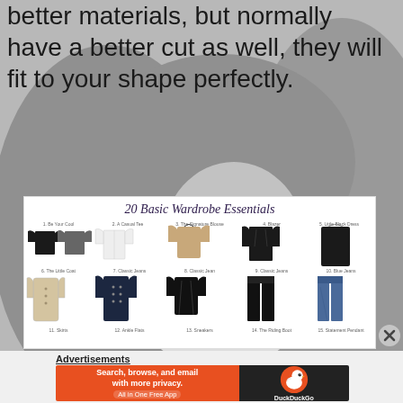better materials, but normally have a better cut as well, they will fit to your shape perfectly.
[Figure (photo): Background photo of a woman with long hair and closed eyes, faded/grayscale style]
[Figure (infographic): 20 Basic Wardrobe Essentials infographic showing clothing items in two rows with labels]
[Figure (other): Close button (X circle) overlapping the wardrobe infographic]
Advertisements
[Figure (screenshot): DuckDuckGo advertisement banner: Search, browse, and email with more privacy. All in One Free App. DuckDuckGo logo on dark background.]